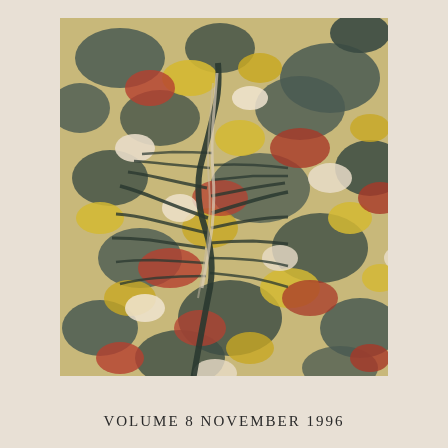[Figure (illustration): A colorful marbled paper pattern featuring swirling designs in dark slate-grey, yellow, rust/red, cream, and white colors, with a distinctive feathered or peacock-tail motif in the center-left area against a mottled background.]
VOLUME 8 NOVEMBER 1996